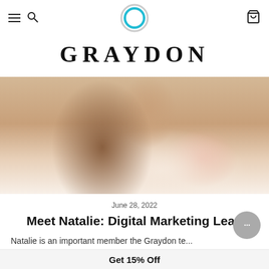Navigation bar with hamburger menu, search icon, Graydon logo (circular teal icon), and cart icon
GRAYDON
[Figure (photo): Close-up photo of a smiling woman with curly brown hair, resting her chin on her hand, wearing a floral dress with red and pink flowers on a white background]
June 28, 2022
Meet Natalie: Digital Marketing Lead
Natalie is an important member the Graydon te... Read on to learn about her role at Graydon an...
Get 15% Off